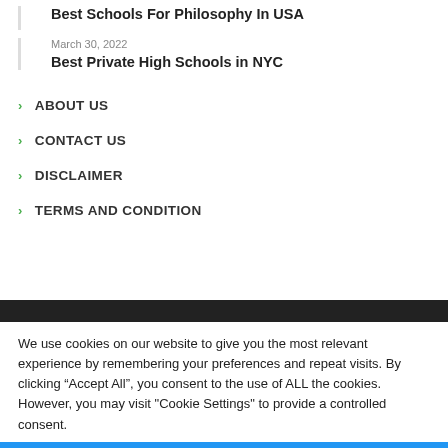Best Schools For Philosophy In USA
March 30, 2022
Best Private High Schools in NYC
ABOUT US
CONTACT US
DISCLAIMER
TERMS AND CONDITION
We use cookies on our website to give you the most relevant experience by remembering your preferences and repeat visits. By clicking “Accept All”, you consent to the use of ALL the cookies. However, you may visit "Cookie Settings" to provide a controlled consent.
Cookie Settings
Accept All